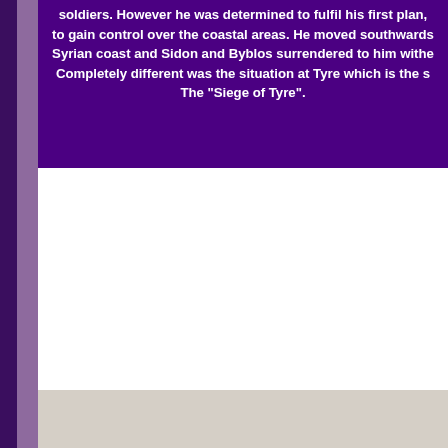soldiers. However he was determined to fulfil his first plan, to gain control over the coastal areas. He moved southwards, Syrian coast and Sidon and Byblos surrendered to him withe. Completely different was the situation at Tyre which is the s. The "Siege of Tyre".